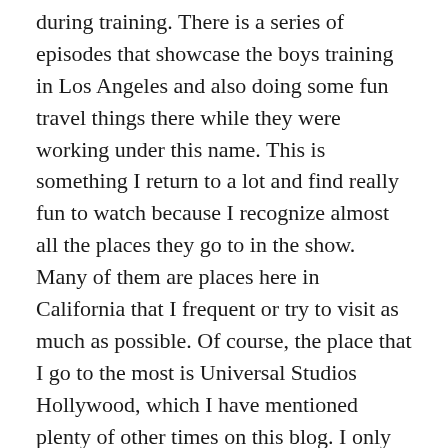during training. There is a series of episodes that showcase the boys training in Los Angeles and also doing some fun travel things there while they were working under this name. This is something I return to a lot and find really fun to watch because I recognize almost all the places they go to in the show. Many of them are places here in California that I frequent or try to visit as much as possible. Of course, the place that I go to the most is Universal Studios Hollywood, which I have mentioned plenty of other times on this blog. I only mention this because during the episode when the boys go to Universal Studios, Mingi decided to get up on a stage in the Wizarding World and basically start busking. This part never fails to make me laugh every single time I see it. His bravery to do things like that astounds me and his sense of humor is amazing.